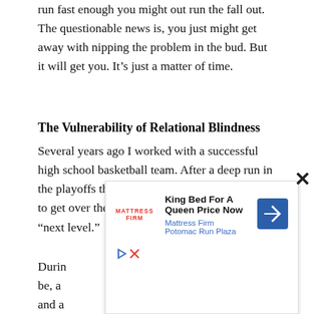run fast enough you might out run the fall out.  The questionable news is, you just might get away with nipping the problem in the bud.  But it will get you.  It's just a matter of time.
The Vulnerability of Relational Blindness
Several years ago I worked with a successful high school basketball team.  After a deep run in the playoffs the team wanted to understand how to get over the hurdle and get to the proverbial “next level.”
Durin [ad obscures text] to-be, a [ad obscures text] n and a [ad obscures text]
[Figure (other): Advertisement overlay: Mattress Firm ad reading 'King Bed For A Queen Price Now' with subtitle 'Mattress Firm Potomac Run Plaza', showing Mattress Firm logo and a blue navigation arrow icon. A close (X) button appears top right.]